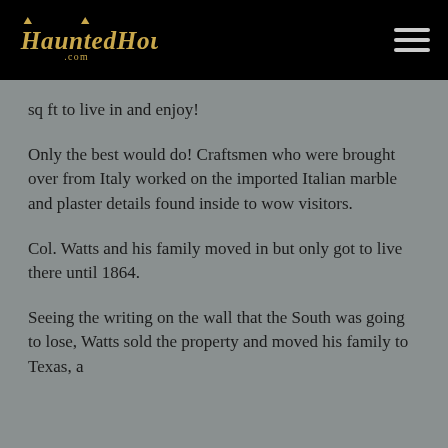HauntedHouses.com
sq ft to live in and enjoy!
Only the best would do! Craftsmen who were brought over from Italy worked on the imported Italian marble and plaster details found inside to wow visitors.
Col. Watts and his family moved in but only got to live there until 1864.
Seeing the writing on the wall that the South was going to lose, Watts sold the property and moved his family to Texas, a